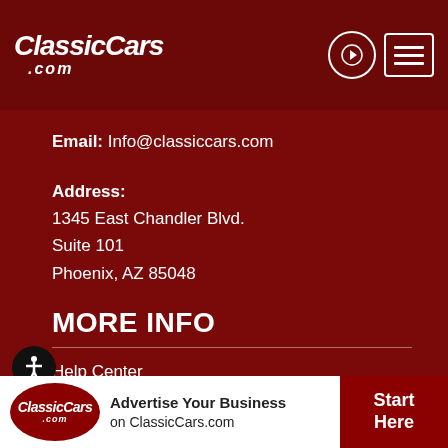[Figure (logo): ClassicCars.com logo in white italic text on dark red header background]
Email: Info@classiccars.com
Address:
1345 East Chandler Blvd.
Suite 101
Phoenix, AZ 85048
MORE INFO
Help Center
About ClassicCars.com
[Figure (logo): ClassicCars.com advertisement banner at bottom: oval red logo, text 'Advertise Your Business on ClassicCars.com', red 'Start Here' button]